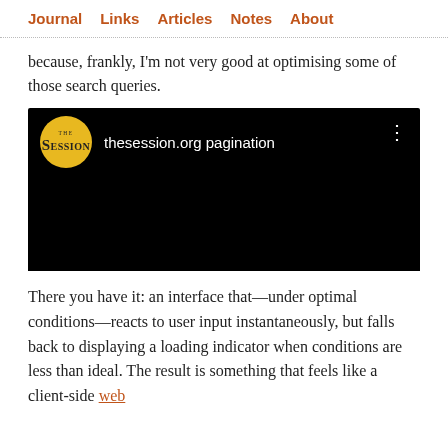Journal   Links   Articles   Notes   About
because, frankly, I'm not very good at optimising some of those search queries.
[Figure (screenshot): A video player screenshot with black background showing 'thesession.org pagination' title. A gold circular logo for 'The Session' appears on the left, with the video title text in white and a three-dot menu icon on the right.]
There you have it: an interface that—under optimal conditions—reacts to user input instantaneously, but falls back to displaying a loading indicator when conditions are less than ideal. The result is something that feels like a client-side web